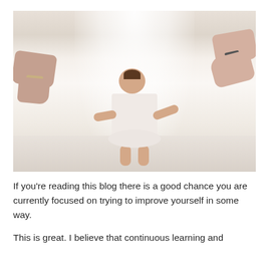[Figure (photo): A toddler in a white dress taking first steps, arms outstretched toward an adult's hands on the right. An adult hand/arm visible on the left. Bright white/neutral background with soft lighting.]
If you're reading this blog there is a good chance you are currently focused on trying to improve yourself in some way.
This is great. I believe that continuous learning and